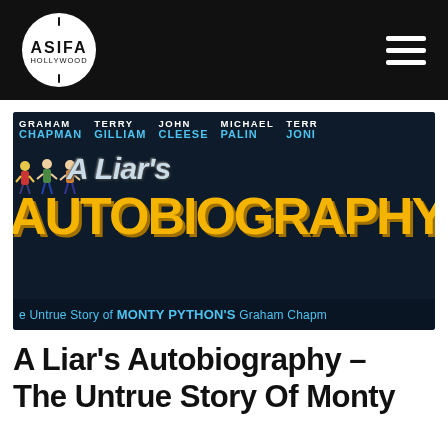ASIFA HOLLYWOOD [navigation logo and hamburger menu]
[Figure (photo): Movie banner/poster for 'A Liar's Autobiography – The Untrue Story of Monty Python's Graham Chapman' featuring cast names: Graham Chapman, Terry Gilliam, John Cleese, Michael Palin, Terry Jones, on a dark navy background with large yellow AUTOBIOGRAPHY text and light blue 'A Liar's' italic text, with cartoon figures and subtitle 'The Untrue Story of MONTY PYTHON'S Graham Chapman']
A Liar's Autobiography – The Untrue Story Of Monty